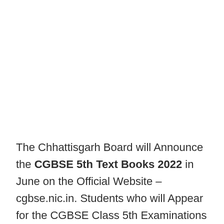The Chhattisgarh Board will Announce the CGBSE 5th Text Books 2022 in June on the Official Website – cgbse.nic.in. Students who will Appear for the CGBSE Class 5th Examinations This Year can Check Their CG